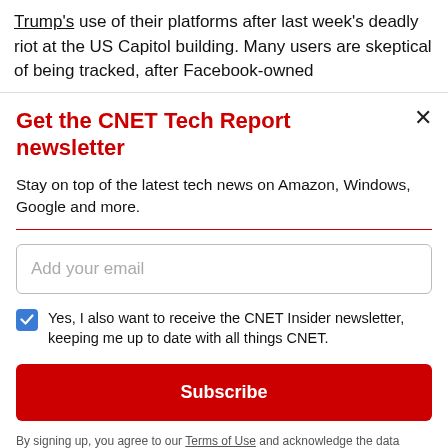Trump's use of their platforms after last week's deadly riot at the US Capitol building. Many users are skeptical of being tracked, after Facebook-owned
Get the CNET Tech Report newsletter
Stay on top of the latest tech news on Amazon, Windows, Google and more.
Add your email
Yes, I also want to receive the CNET Insider newsletter, keeping me up to date with all things CNET.
Subscribe
By signing up, you agree to our Terms of Use and acknowledge the data practices in our Privacy Policy. You may unsubscribe at any time.